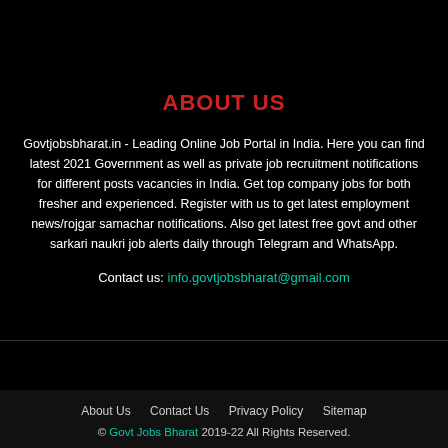ABOUT US
Govtjobsbharat.in - Leading Online Job Portal in India. Here you can find latest 2021 Government as well as private job recruitment notifications for different posts vacancies in India. Get top company jobs for both fresher and experienced. Register with us to get latest employment news/rojgar samachar notifications. Also get latest free govt and other sarkari naukri job alerts daily through Telegram and WhatsApp.
Contact us: info.govtjobsbharat@gmail.com
About Us   Contact Us   Privacy Policy   Sitemap
© Govt Jobs Bharat 2019-22 All Rights Reserved.